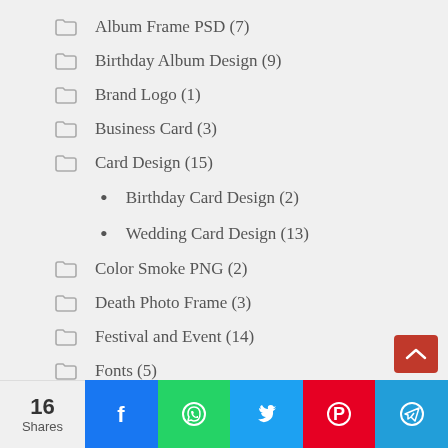Album Frame PSD (7)
Birthday Album Design (9)
Brand Logo (1)
Business Card (3)
Card Design (15)
Birthday Card Design (2)
Wedding Card Design (13)
Color Smoke PNG (2)
Death Photo Frame (3)
Festival and Event (14)
Fonts (5)
Happy Birthday Banner & Poster (5)
16 Shares | Facebook | WhatsApp | Twitter | Pinterest | Telegram